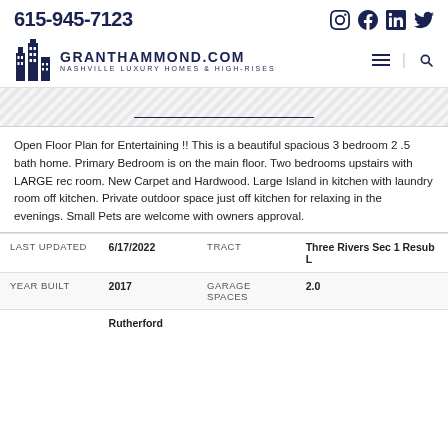615-945-7123
[Figure (logo): GrantHammond.com Nashville Luxury Homes & High-Rises logo with building icon]
[Figure (other): Striped decorative banner with dark underline bar]
Open Floor Plan for Entertaining !! This is a beautiful spacious 3 bedroom 2 .5 bath home. Primary Bedroom is on the main floor. Two bedrooms upstairs with LARGE rec room. New Carpet and Hardwood. Large Island in kitchen with laundry room off kitchen. Private outdoor space just off kitchen for relaxing in the evenings. Small Pets are welcome with owners approval.
| LAST UPDATED | 6/17/2022 | TRACT | Three Rivers Sec 1 Resub L |
| --- | --- | --- | --- |
| YEAR BUILT | 2017 | GARAGE SPACES | 2.0 |
|  | Rutherford |  |  |